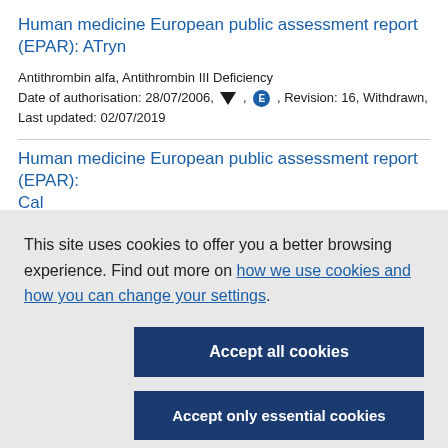Human medicine European public assessment report (EPAR): ATryn
Antithrombin alfa, Antithrombin III Deficiency
Date of authorisation: 28/07/2006, [triangle], [E], Revision: 16, Withdrawn,
Last updated: 02/07/2019
Human medicine European public assessment report (EPAR): Cal...
This site uses cookies to offer you a better browsing experience. Find out more on how we use cookies and how you can change your settings.